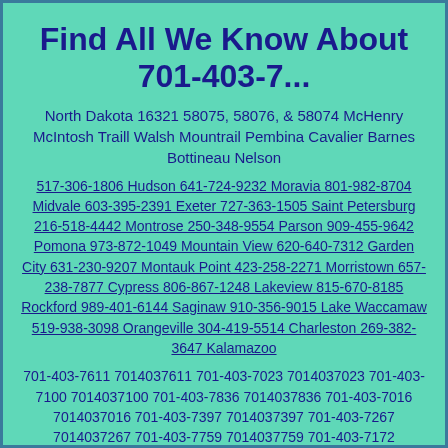Find All We Know About 701-403-7...
North Dakota 16321 58075, 58076, & 58074 McHenry McIntosh Traill Walsh Mountrail Pembina Cavalier Barnes Bottineau Nelson
517-306-1806 Hudson 641-724-9232 Moravia 801-982-8704 Midvale 603-395-2391 Exeter 727-363-1505 Saint Petersburg 216-518-4442 Montrose 250-348-9554 Parson 909-455-9642 Pomona 973-872-1049 Mountain View 620-640-7312 Garden City 631-230-9207 Montauk Point 423-258-2271 Morristown 657-238-7877 Cypress 806-867-1248 Lakeview 815-670-8185 Rockford 989-401-6144 Saginaw 910-356-9015 Lake Waccamaw 519-938-3098 Orangeville 304-419-5514 Charleston 269-382-3647 Kalamazoo
701-403-7611 7014037611 701-403-7023 7014037023 701-403-7100 7014037100 701-403-7836 7014037836 701-403-7016 7014037016 701-403-7397 7014037397 701-403-7267 7014037267 701-403-7759 7014037759 701-403-7172 7014037172 701-403-7410 7014037410 701-403-7020